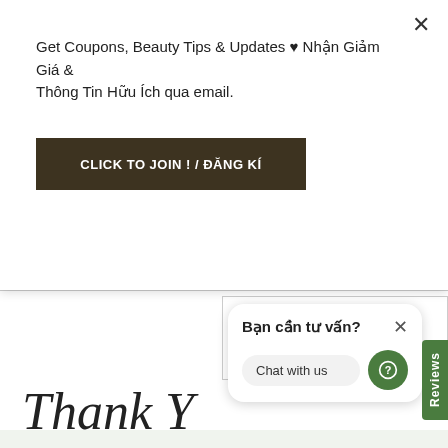Get Coupons, Beauty Tips & Updates ♥ Nhận Giảm Giá & Thông Tin Hữu Ích qua email.
CLICK TO JOIN ! / ĐĂNG KÍ
17 June 2022
[Figure (illustration): Cursive calligraphy text reading 'Thank Y...' in decorative script]
Bạn cần tư vấn?
Chat with us
Reviews